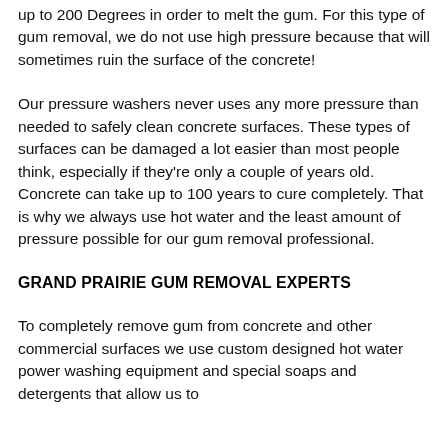up to 200 Degrees in order to melt the gum. For this type of gum removal, we do not use high pressure because that will sometimes ruin the surface of the concrete!
Our pressure washers never uses any more pressure than needed to safely clean concrete surfaces. These types of surfaces can be damaged a lot easier than most people think, especially if they're only a couple of years old. Concrete can take up to 100 years to cure completely. That is why we always use hot water and the least amount of pressure possible for our gum removal professional.
GRAND PRAIRIE GUM REMOVAL EXPERTS
To completely remove gum from concrete and other commercial surfaces we use custom designed hot water power washing equipment and special soaps and detergents that allow us to